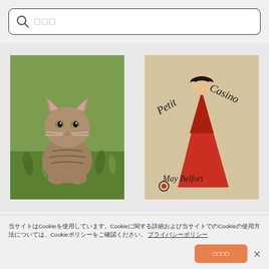検索（placeholder icons）
[Figure (photo): A small tabby kitten sitting on green grass, looking at the camera]
[Figure (illustration): Vintage poster: 'Petit Casino May Belfort' featuring a woman in a large red dress by Henri de Toulouse-Lautrec]
Domestic cat
Domestic cat, kitten, mackerel, 8
May Belfort.
May Belfort. Henri de Toulouse-
（Cookie同意バナー）当サイトはCookieを使用しています。Cookieに関する詳細および当サイトでのCookieの使用方法については、Cookieポリシーをご確認ください。 プライバシーポリシー